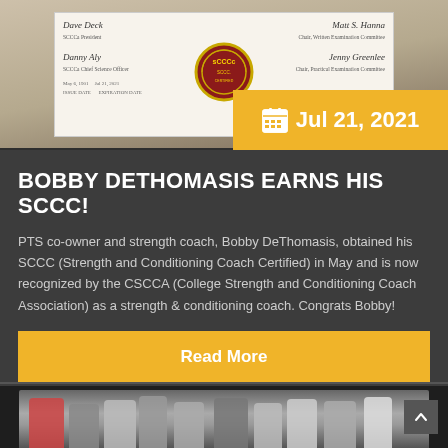[Figure (photo): Photo of an SCCC certification document/diploma with signatures and a circular SCCC seal badge in the center]
Jul 21, 2021
BOBBY DETHOMASIS EARNS HIS SCCC!
PTS co-owner and strength coach, Bobby DeThomasis, obtained his SCCC (Strength and Conditioning Coach Certified) in May and is now recognized by the CSCCA (College Strength and Conditioning Coach Association) as a strength & conditioning coach. Congrats Bobby!
Read More
[Figure (photo): Group photo of athletes and coaches at a gym facility]